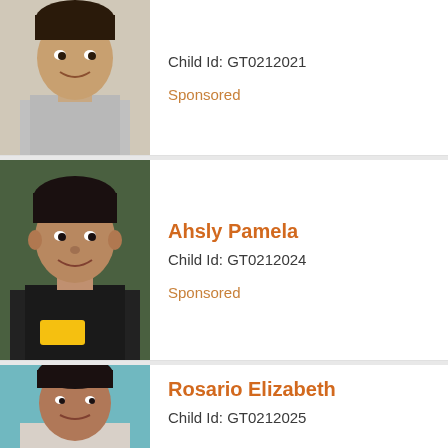[Figure (photo): Photo of a teenage boy smiling, wearing a grey t-shirt, light wall background]
Child Id: GT0212021
Sponsored
[Figure (photo): Photo of a girl named Ahsly Pamela smiling, wearing a dark Puma t-shirt]
Ahsly Pamela
Child Id: GT0212024
Sponsored
[Figure (photo): Photo of a young girl named Rosario Elizabeth, light blue wall background]
Rosario Elizabeth
Child Id: GT0212025